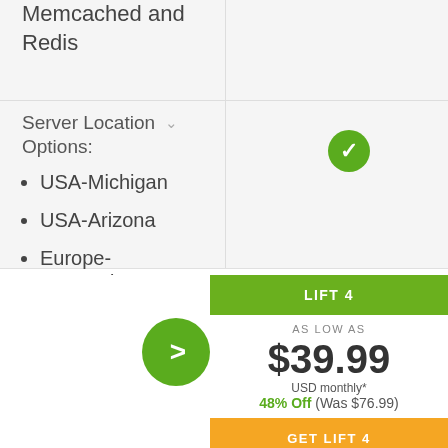Memcached and Redis
Server Location Options:
USA-Michigan
USA-Arizona
Europe-Amsterdam
LIFT 4
AS LOW AS
$39.99
USD monthly*
48% Off (Was $76.99)
GET LIFT 4